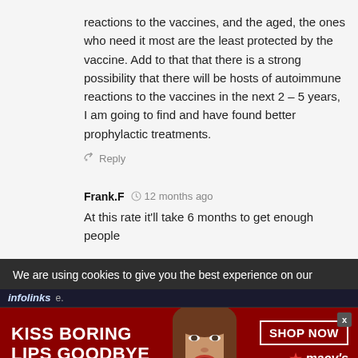reactions to the vaccines, and the aged, the ones who need it most are the least protected by the vaccine. Add to that that there is a strong possibility that there will be hosts of autoimmune reactions to the vaccines in the next 2 – 5 years, I am going to find and have found better prophylactic treatments.
Reply
Frank.F  12 months ago
At this rate it'll take 6 months to get enough people
We are using cookies to give you the best experience on our
infolinks
[Figure (screenshot): Macy's advertisement banner with red background, text 'KISS BORING LIPS GOODBYE', a model's face in center, and 'SHOP NOW' button with Macy's star logo on right.]